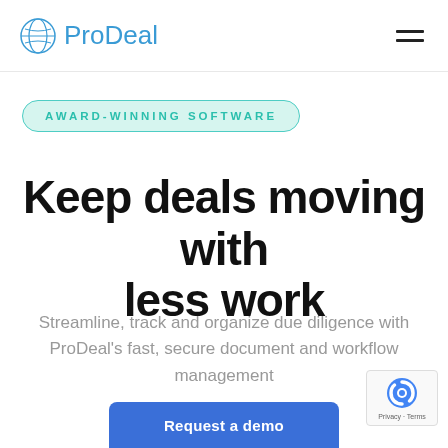ProDeal
AWARD-WINNING SOFTWARE
Keep deals moving with less work
Streamline, track and organize due diligence with ProDeal's fast, secure document and workflow management
Request a demo